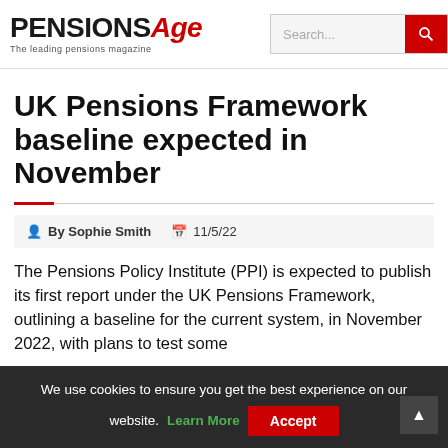PENSIONS Age — The leading pensions magazine
UK Pensions Framework baseline expected in November
By Sophie Smith   11/5/22
The Pensions Policy Institute (PPI) is expected to publish its first report under the UK Pensions Framework, outlining a baseline for the current system, in November 2022, with plans to test some
We use cookies to ensure you get the best experience on our website. Learn More  Accept